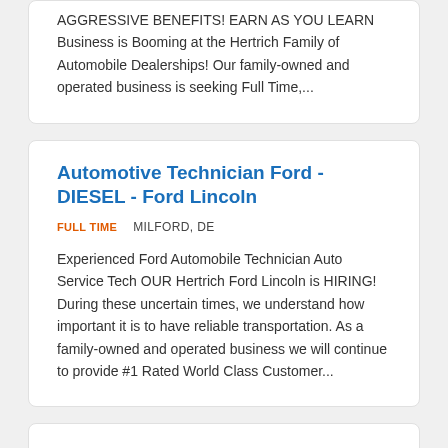AGGRESSIVE BENEFITS! EARN AS YOU LEARN Business is Booming at the Hertrich Family of Automobile Dealerships! Our family-owned and operated business is seeking Full Time,...
Automotive Technician Ford - DIESEL - Ford Lincoln
FULL TIME    MILFORD, DE
Experienced Ford Automobile Technician Auto Service Tech OUR Hertrich Ford Lincoln is HIRING! During these uncertain times, we understand how important it is to have reliable transportation. As a family-owned and operated business we will continue to provide #1 Rated World Class Customer...
Body Shop Repair Technicians - A/B/C Level - Dagsboro Collision
FULL TIME    DAGSBORO, DE